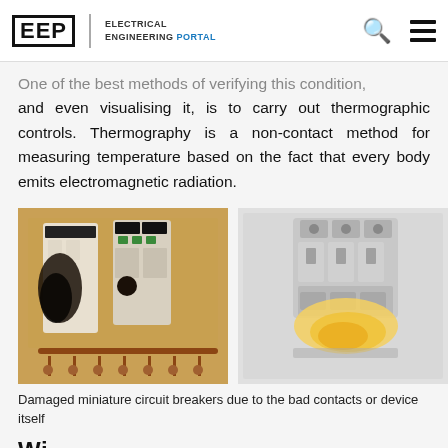EEP | ELECTRICAL ENGINEERING PORTAL
One of the best methods of verifying this condition, and even visualising it, is to carry out thermographic controls. Thermography is a non-contact method for measuring temperature based on the fact that every body emits electromagnetic radiation.
[Figure (photo): Two photos side by side showing damaged miniature circuit breakers. Left image shows multiple circuit breakers with burn/fire damage on a light brown background with wires. Right image shows a single circuit breaker with heat/fire damage on a white background.]
Damaged miniature circuit breakers due to the bad contacts or device itself
Wi...